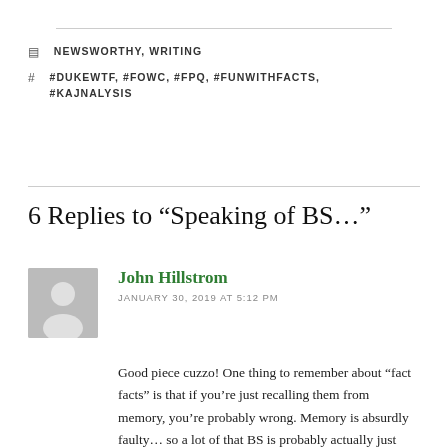NEWSWORTHY, WRITING
#DUKEWTF, #FOWC, #FPQ, #FUNWITHFACTS, #KAJNALYSIS
6 Replies to “Speaking of BS…”
John Hillstrom
JANUARY 30, 2019 AT 5:12 PM
Good piece cuzzo! One thing to remember about “fact facts” is that if you’re just recalling them from memory, you’re probably wrong. Memory is absurdly faulty… so a lot of that BS is probably actually just poor recall. I think this episode of